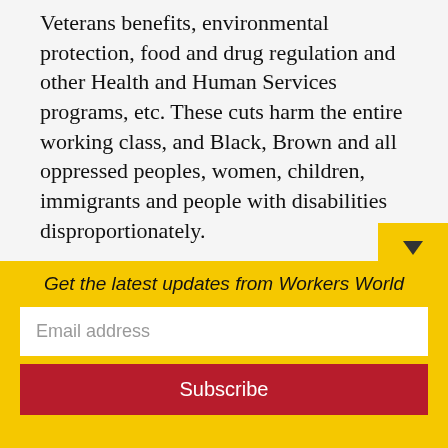Veterans benefits, environmental protection, food and drug regulation and other Health and Human Services programs, etc. These cuts harm the entire working class, and Black, Brown and all oppressed peoples, women, children, immigrants and people with disabilities disproportionately.
The Republican Party, which pushed through the TCJA, is obviously an enemy of working people and a friend of the rich. The Democrats too, for their feeble resistance to this bill, have shown that they were willi
Get the latest updates from Workers World
Email address
Subscribe